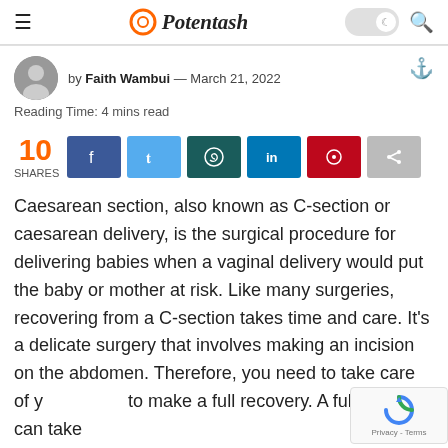Potentash
by Faith Wambui — March 21, 2022
Reading Time: 4 mins read
10 SHARES
Caesarean section, also known as C-section or caesarean delivery, is the surgical procedure for delivering babies when a vaginal delivery would put the baby or mother at risk. Like many surgeries, recovering from a C-section takes time and care. It's a delicate surgery that involves making an incision on the abdomen. Therefore, you need to take care of y... to make a full recovery. A full recovery can take up to 4